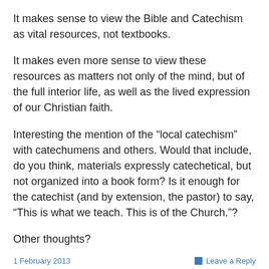It makes sense to view the Bible and Catechism as vital resources, not textbooks.
It makes even more sense to view these resources as matters not only of the mind, but of the full interior life, as well as the lived expression of our Christian faith.
Interesting the mention of the “local catechism” with catechumens and others. Would that include, do you think, materials expressly catechetical, but not organized into a book form? Is it enough for the catechist (and by extension, the pastor) to say, “This is what we teach. This is of the Church.”?
Other thoughts?
1 February 2013    Leave a Reply